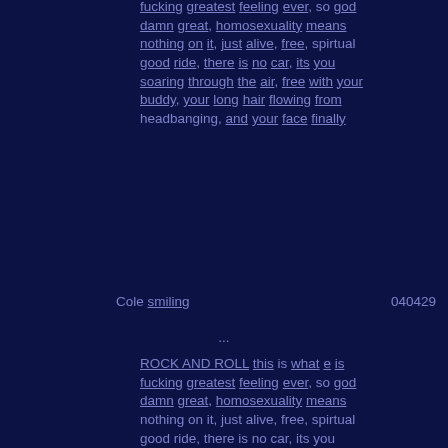fucking greatest feeling ever, so god damn great, homosexuality means nothing on it, just alive, free, spirtual good ride, there is no car, its you soaring through the air, free with your buddy, your long hair flowing from headbanging, and your face finally Cole smiling  040429
...
ROCK AND ROLL this is what e is fucking greatest feeling ever, so god damn great, homosexuality means nothing on it, just alive, free, spirtual good ride, there is no car, its you soaring through the air, free with your buddy, your long hair flowing from headbanging, and your face finally Cole smiling  040429
...
ROCK AND ROLL this is what e is fucking greatest feeling ever, so god damn great, homosexuality means nothing on it, just alive, free, spirtual good ride, there is no car, its you soaring through the air, free with your buddy, your long hair flowing from headbanging, and your face finally Cole smiling 040429